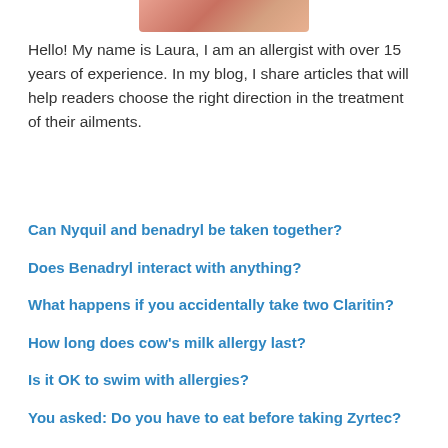[Figure (photo): Partial photo of a person, cropped at top of page]
Hello! My name is Laura, I am an allergist with over 15 years of experience. In my blog, I share articles that will help readers choose the right direction in the treatment of their ailments.
Can Nyquil and benadryl be taken together?
Does Benadryl interact with anything?
What happens if you accidentally take two Claritin?
How long does cow's milk allergy last?
Is it OK to swim with allergies?
You asked: Do you have to eat before taking Zyrtec?
Quick Answer: Can Benadryl cause stomach upset in dogs?